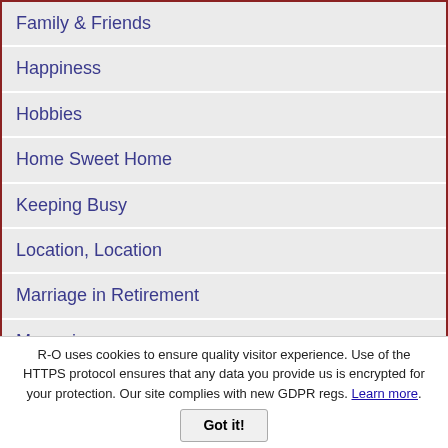Family & Friends
Happiness
Hobbies
Home Sweet Home
Keeping Busy
Location, Location
Marriage in Retirement
Memories
Money
Movies
Quotes 'n Jokes
Senior Pen Pals
R-O uses cookies to ensure quality visitor experience. Use of the HTTPS protocol ensures that any data you provide us is encrypted for your protection. Our site complies with new GDPR regs. Learn more.
Got it!